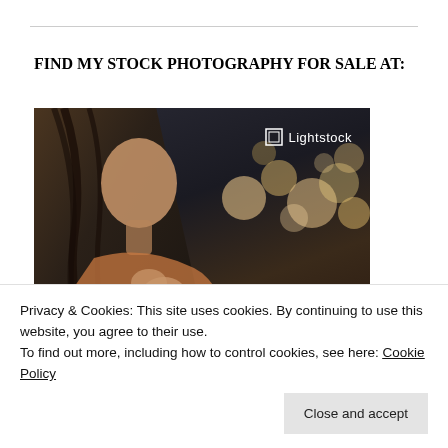FIND MY STOCK PHOTOGRAPHY FOR SALE AT:
[Figure (photo): Lightstock stock photo advertisement showing a woman looking upward with bokeh lights in background, with 'CHEESY-FREE' text overlaid at the bottom and Lightstock logo in the upper right]
Privacy & Cookies: This site uses cookies. By continuing to use this website, you agree to their use.
To find out more, including how to control cookies, see here: Cookie Policy
Close and accept